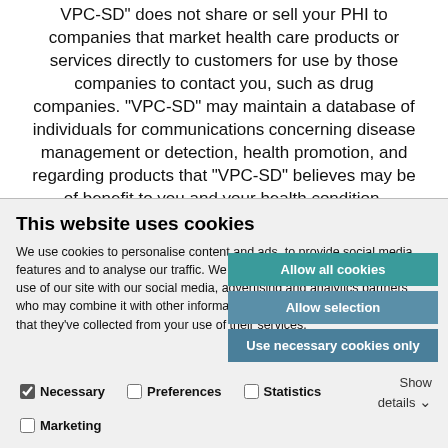VPC-SD" does not share or sell your PHI to companies that market health care products or services directly to customers for use by those companies to contact you, such as drug companies. "VPC-SD" may maintain a database of individuals for communications concerning disease management or detection, health promotion, and regarding products that "VPC-SD" believes may be of benefit to you and your health condition. Individuals in this
This website uses cookies
We use cookies to personalise content and ads, to provide social media features and to analyse our traffic. We also share information about your use of our site with our social media, advertising and analytics partners who may combine it with other information that you've provided to them or that they've collected from your use of their services.
Allow all cookies
Allow selection
Use necessary cookies only
Necessary  Preferences  Statistics  Marketing  Show details